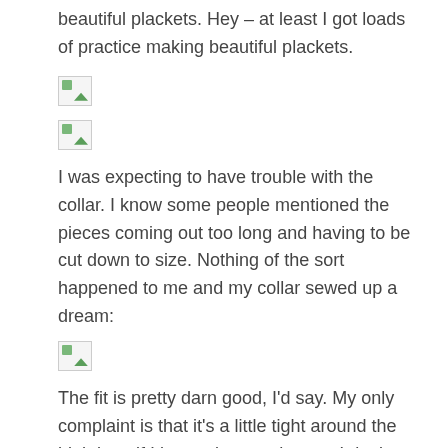beautiful plackets. Hey – at least I got loads of practice making beautiful plackets.
[Figure (photo): Broken/missing image placeholder 1]
[Figure (photo): Broken/missing image placeholder 2]
I was expecting to have trouble with the collar. I know some people mentioned the pieces coming out too long and having to be cut down to size. Nothing of the sort happened to me and my collar sewed up a dream:
[Figure (photo): Broken/missing image placeholder 3]
The fit is pretty darn good, I'd say. My only complaint is that it's a little tight around the high bust if I button it up to the top. I don't intend to wear it that way, so it won't be an issue. Just something to think about for my next